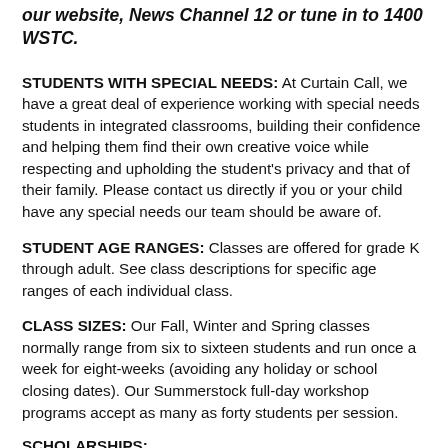our website, News Channel 12 or tune in to 1400 WSTC.
STUDENTS WITH SPECIAL NEEDS: At Curtain Call, we have a great deal of experience working with special needs students in integrated classrooms, building their confidence and helping them find their own creative voice while respecting and upholding the student's privacy and that of their family. Please contact us directly if you or your child have any special needs our team should be aware of.
STUDENT AGE RANGES: Classes are offered for grade K through adult. See class descriptions for specific age ranges of each individual class.
CLASS SIZES: Our Fall, Winter and Spring classes normally range from six to sixteen students and run once a week for eight-weeks (avoiding any holiday or school closing dates). Our Summerstock full-day workshop programs accept as many as forty students per session.
SCHOLARSHIPS: